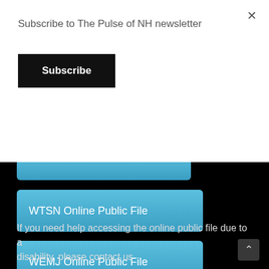Subscribe to The Pulse of NH newsletter
Subscribe
WTSN Online Public File
WEMJ Online Public File
If you need help accessing the online public file due to a disability, please contact us